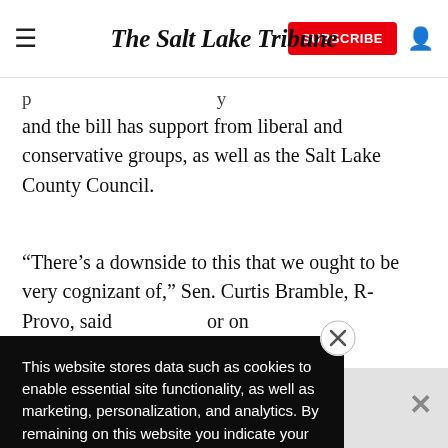The Salt Lake Tribune
and the bill has support from liberal and conservative groups, as well as the Salt Lake County Council.
“There’s a downside to this that we ought to be very cognizant of,” Sen. Curtis Bramble, R-Provo, said [partial text obscured] or on [partial] arned [partial] or or fraud.”
This website stores data such as cookies to enable essential site functionality, as well as marketing, personalization, and analytics. By remaining on this website you indicate your consent.
Data Storage Policy